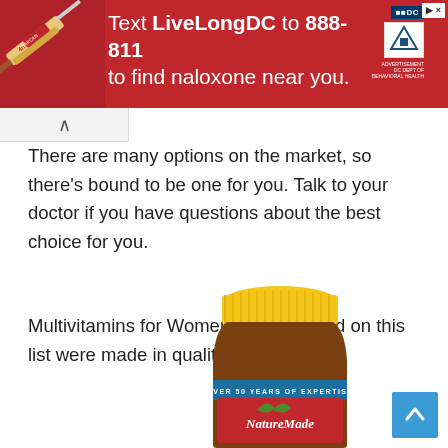[Figure (infographic): Red advertisement banner: 'Text LiveLongDC to 888-811 to find naloxone near you.' with DC and DBH logos and a syringe image on the left.]
There are many options on the market, so there's bound to be one for you. Talk to your doctor if you have questions about the best choice for you.
Multivitamins for Women over 50 listed on this list were made in quality facilities.
[Figure (photo): Nature Made multivitamin bottle with yellow cap, brown bottle, blue label reading 'OVER 50 YEARS OF EXPERTISE', and red/green Nature Made logo with 'Multi' text at bottom.]